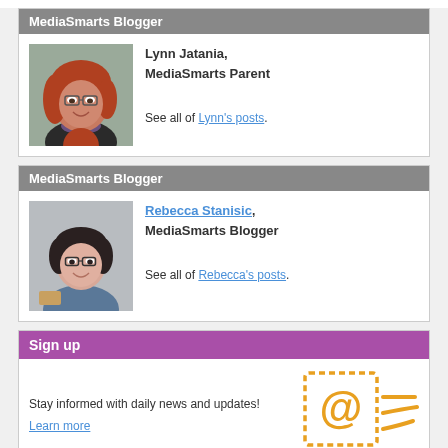MediaSmarts Blogger
[Figure (photo): Photo of Lynn Jatania, a woman with red wavy hair and glasses, smiling]
Lynn Jatania,
MediaSmarts Parent

See all of Lynn's posts.
MediaSmarts Blogger
[Figure (photo): Photo of Rebecca Stanisic, a woman with dark hair and glasses, smiling, wearing a denim jacket]
Rebecca Stanisic,
MediaSmarts Blogger

See all of Rebecca's posts.
Sign up
Stay informed with daily news and updates!

Learn more
[Figure (illustration): Email stamp icon: orange stamp outline with @ symbol and motion lines]